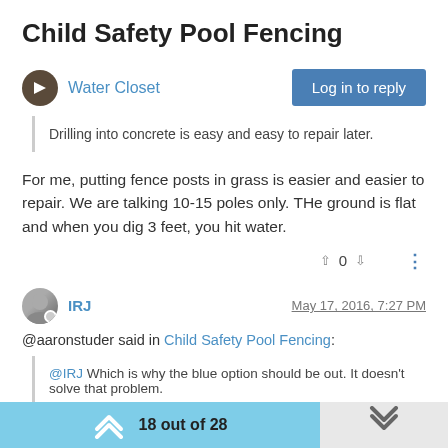Child Safety Pool Fencing
Water Closet
Log in to reply
Drilling into concrete is easy and easy to repair later.
For me, putting fence posts in grass is easier and easier to repair. We are talking 10-15 poles only. THe ground is flat and when you dig 3 feet, you hit water.
0
IRJ
May 17, 2016, 7:27 PM
@aaronstuder said in Child Safety Pool Fencing:
@IRJ Which is why the blue option should be out. It doesn't solve that problem.
18 out of 28